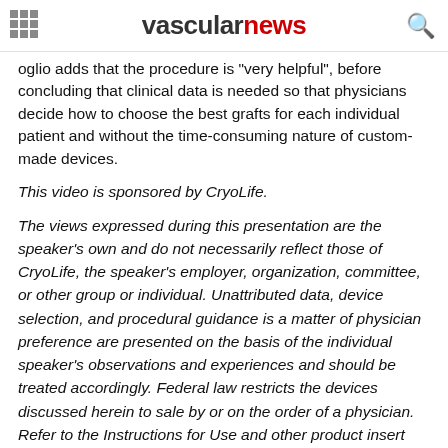vascularnews
oglio adds that the procedure is "very helpful", before concluding that clinical data is needed so that physicians decide how to choose the best grafts for each individual patient and without the time-consuming nature of custom-made devices.
This video is sponsored by CryoLife.
The views expressed during this presentation are the speaker's own and do not necessarily reflect those of CryoLife, the speaker's employer, organization, committee, or other group or individual. Unattributed data, device selection, and procedural guidance is a matter of physician preference are presented on the basis of the individual speaker's observations and experiences and should be treated accordingly. Federal law restricts the devices discussed herein to sale by or on the order of a physician. Refer to the Instructions for Use and other product insert documentation that accompanies each of these devices for indications,